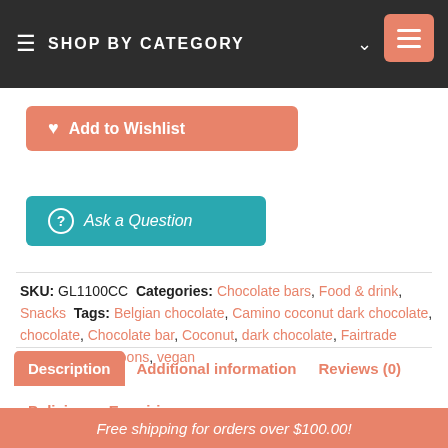SHOP BY CATEGORY
Add to Wishlist
Ask a Question
SKU: GL1100CC  Categories: Chocolate bars, Food & drink, Snacks  Tags: Belgian chocolate, Camino coconut dark chocolate, chocolate, Chocolate bar, Coconut, dark chocolate, Fairtrade Certified, macaroons, vegan
Description | Additional information | Reviews (0) | Policies | Enquiries
Free shipping for orders over $100.00!